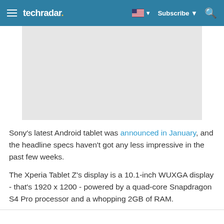techradar | Subscribe | Search
[Figure (other): Gray placeholder advertisement banner image]
Sony's latest Android tablet was announced in January, and the headline specs haven't got any less impressive in the past few weeks.
The Xperia Tablet Z's display is a 10.1-inch WUXGA display - that's 1920 x 1200 - powered by a quad-core Snapdragon S4 Pro processor and a whopping 2GB of RAM.